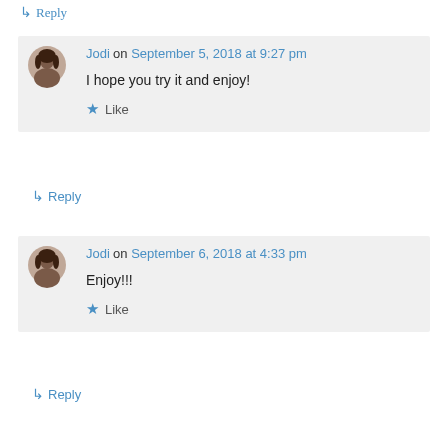↪ Reply
Jodi on September 5, 2018 at 9:27 pm
I hope you try it and enjoy!
★ Like
↪ Reply
Jodi on September 6, 2018 at 4:33 pm
Enjoy!!!
★ Like
↪ Reply